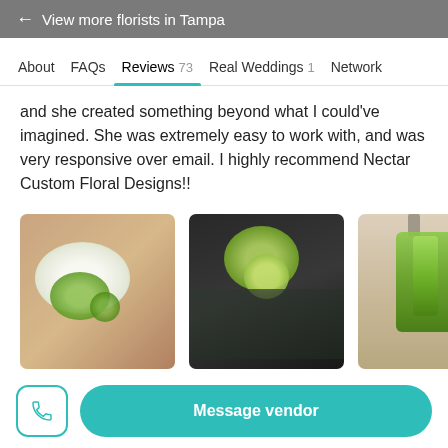← View more florists in Tampa
About  FAQs  Reviews 73  Real Weddings 1  Network
and she created something beyond what I could've imagined. She was extremely easy to work with, and was very responsive over email. I highly recommend Nectar Custom Floral Designs!!
[Figure (photo): Three thumbnail photos of floral arrangements: white flowers with greenery, a green flower boutonniere on dark background, and a hanging green bouquet.]
Sent on 07/15/2022